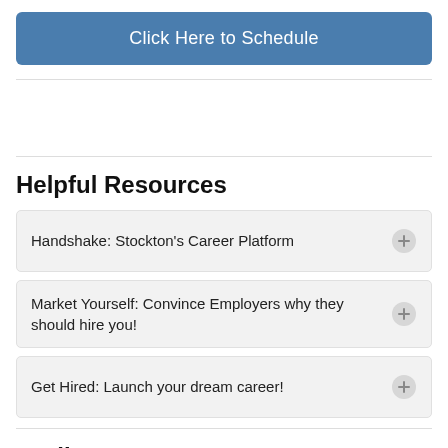[Figure (other): Blue rounded button labeled 'Click Here to Schedule']
Helpful Resources
Handshake: Stockton's Career Platform
Market Yourself: Convince Employers why they should hire you!
Get Hired: Launch your dream career!
Media
2023 Stockton STEM Career Professional Network...